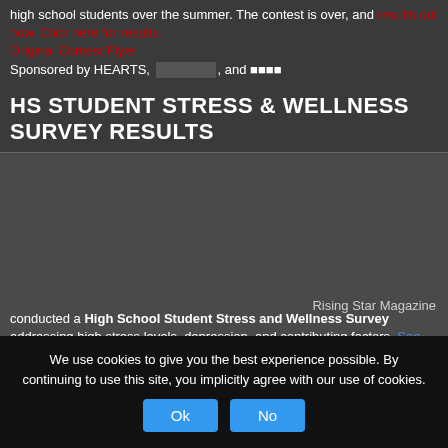high school students over the summer. The contest is over, and results out now. Click here for results. Original Contest Flyer Sponsored by HEARTS, , and 🏠🏠🏠🏠
HS STUDENT STRESS & WELLNESS SURVEY RESULTS
Rising Star Magazine
conducted a High School Student Stress and Wellness Survey addressing high stress levels, depression, and contributing factors. See the full report
We use cookies to give you the best experience possible. By continuing to use this site, you implicitly agree with our use of cookies.